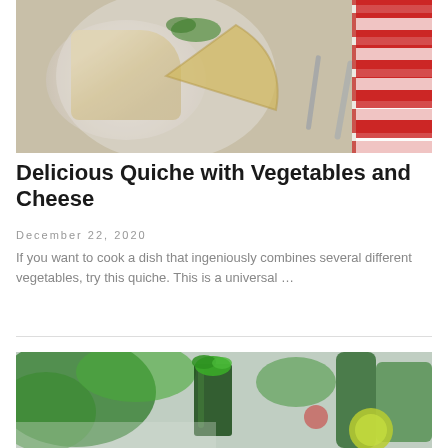[Figure (photo): A plate with a slice of quiche with vegetables and cheese, a fork, and a red and white striped cloth napkin on a wooden surface.]
Delicious Quiche with Vegetables and Cheese
December 22, 2020
If you want to cook a dish that ingeniously combines several different vegetables, try this quiche. This is a universal …
[Figure (photo): A glass of green smoothie garnished with mint leaves, surrounded by fresh green vegetables and a lime on a light background.]